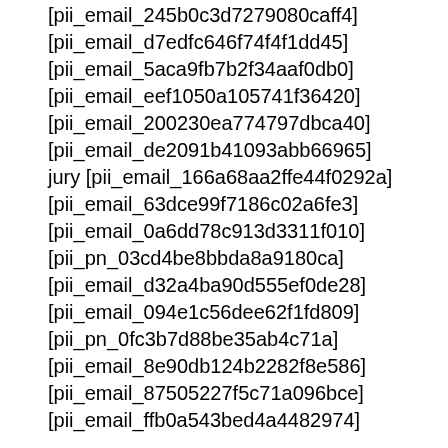[pii_email_245b0c3d7279080caff4]
[pii_email_d7edfc646f74f4f1dd45]
[pii_email_5aca9fb7b2f34aaf0db0]
[pii_email_eef1050a105741f36420]
[pii_email_200230ea774797dbca40]
[pii_email_de2091b41093abb66965]
jury [pii_email_166a68aa2ffe44f0292a]
[pii_email_63dce99f7186c02a6fe3]
[pii_email_0a6dd78c913d3311f010]
[pii_pn_03cd4be8bbda8a9180ca]
[pii_email_d32a4ba90d555ef0de28]
[pii_email_094e1c56dee62f1fd809]
[pii_pn_0fc3b7d88be35ab4c71a]
[pii_email_8e90db124b2282f8e586]
[pii_email_87505227f5c71a096bce]
[pii_email_ffb0a543bed4a4482974]